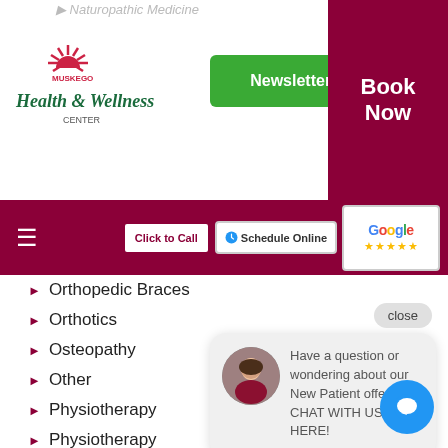Naturopathic Medicine
[Figure (logo): Muskego Health & Wellness Center logo with sun rays and cursive text]
Newsletter Signup
Book Now
[Figure (screenshot): Navigation bar with hamburger menu, Click to Call button, Schedule Online button, and Google reviews button]
Orthopedic Braces
Orthotics
Osteopathy
Other
Physiotherapy
Physiotherapy
Pregnancy Pain
PROADJUSTER
close
Have a question or wondering about our New Patient offer? CHAT WITH US HERE!